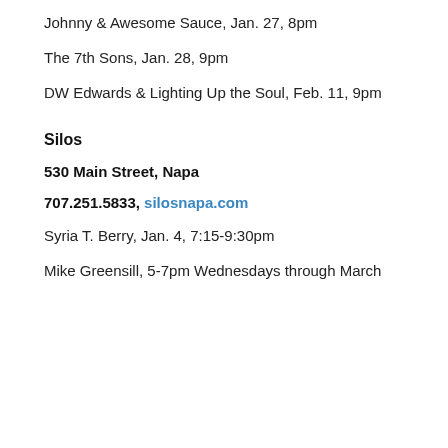Johnny & Awesome Sauce, Jan. 27, 8pm
The 7th Sons, Jan. 28, 9pm
DW Edwards & Lighting Up the Soul, Feb. 11, 9pm
Silos
530 Main Street, Napa
707.251.5833, silosnapa.com
Syria T. Berry, Jan. 4, 7:15-9:30pm
Mike Greensill, 5-7pm Wednesdays through March